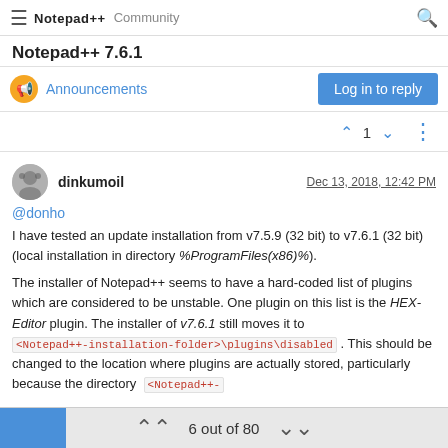Notepad++ Community
Notepad++ 7.6.1
Announcements
@donho
I have tested an update installation from v7.5.9 (32 bit) to v7.6.1 (32 bit) (local installation in directory %ProgramFiles(x86)%).
The installer of Notepad++ seems to have a hard-coded list of plugins which are considered to be unstable. One plugin on this list is the HEX-Editor plugin. The installer of v7.6.1 still moves it to <Notepad++-installation-folder>\plugins\disabled . This should be changed to the location where plugins are actually stored, particularly because the directory <Notepad++-
6 out of 80